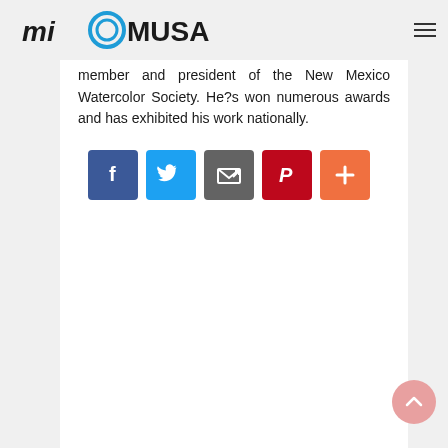miOMUSA
member and president of the New Mexico Watercolor Society. He?s won numerous awards and has exhibited his work nationally.
[Figure (infographic): Row of five social media share buttons: Facebook (blue), Twitter (light blue), Email/share (dark grey), Pinterest (red), More/plus (orange)]